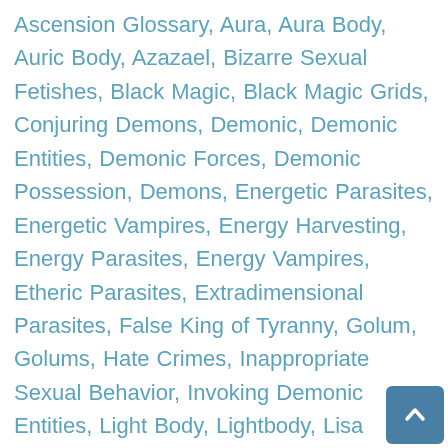Ascension Glossary, Aura, Aura Body, Auric Body, Azazael, Bizarre Sexual Fetishes, Black Magic, Black Magic Grids, Conjuring Demons, Demonic, Demonic Entities, Demonic Forces, Demonic Possession, Demons, Energetic Parasites, Energetic Vampires, Energy Harvesting, Energy Parasites, Energy Vampires, Etheric Parasites, Extradimensional Parasites, False King of Tyranny, Golum, Golums, Hate Crimes, Inappropriate Sexual Behavior, Invoking Demonic Entities, Light Body, Lightbody, Lisa Renee, Loosh, Lower Sexual Energies, Misogynistic, Misogynists, Misogyny, NAA, NAA (Negative Alien Agenda}, Negative Alien Agenda, Negative Alien Possession, Negative Energy Harvesting, Negative Sexual Behaviors, Nephilim, Nephilim Reversal Grid, Nephilim Reversal Grids, NRG, NRG Implants, Orgasmic Energy, Parasitic Beings, Parasitic Entities, Parasitic Forces, Possession, Prostitution, Rape, Reptilian, Reptilian Entities, Reptilian Possession, Satanic Possession, Seducer Archetype, Sex, Sex Clubs, Sexual Abuse, Sexual Abusers, Sexual Addiction, Sexual Assault, Sexual Cording, Sexual